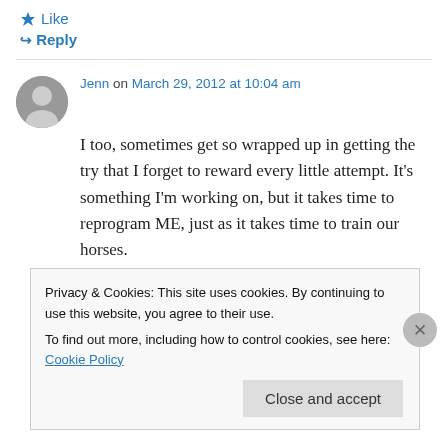★ Like
↪ Reply
Jenn on March 29, 2012 at 10:04 am
I too, sometimes get so wrapped up in getting the try that I forget to reward every little attempt. It's something I'm working on, but it takes time to reprogram ME, just as it takes time to train our horses.
★ Like
Privacy & Cookies: This site uses cookies. By continuing to use this website, you agree to their use.
To find out more, including how to control cookies, see here: Cookie Policy
Close and accept